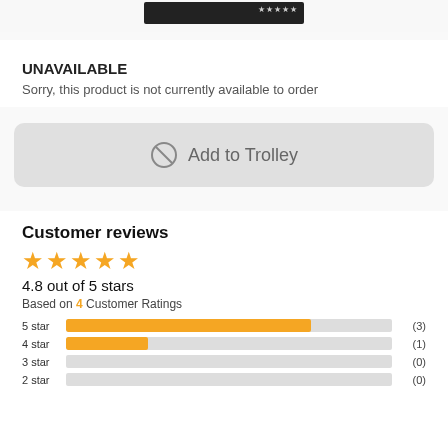[Figure (photo): Product image (DVD/video cover) shown at top of page]
UNAVAILABLE
Sorry, this product is not currently available to order
Add to Trolley
Customer reviews
4.8 out of 5 stars
Based on 4 Customer Ratings
| Star | Bar | Count |
| --- | --- | --- |
| 5 star |  | (3) |
| 4 star |  | (1) |
| 3 star |  | (0) |
| 2 star |  | (0) |